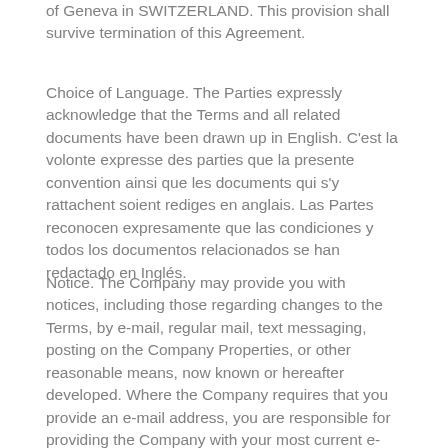of Geneva in SWITZERLAND. This provision shall survive termination of this Agreement.
Choice of Language. The Parties expressly acknowledge that the Terms and all related documents have been drawn up in English. C'est la volonte expresse des parties que la presente convention ainsi que les documents qui s'y rattachent soient rediges en anglais. Las Partes reconocen expresamente que las condiciones y todos los documentos relacionados se han redactado en Inglés.
Notice. The Company may provide you with notices, including those regarding changes to the Terms, by e-mail, regular mail, text messaging, posting on the Company Properties, or other reasonable means, now known or hereafter developed. Where the Company requires that you provide an e-mail address, you are responsible for providing the Company with your most current e-mail address. In the event that the last e-mail